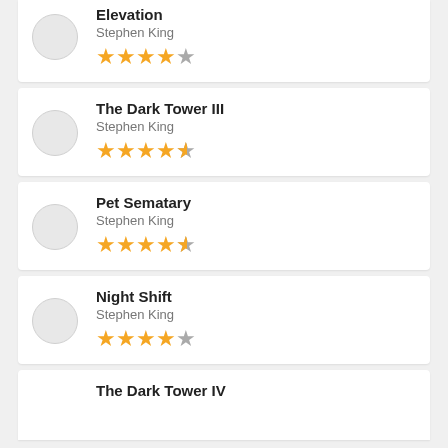Elevation — Stephen King — 4 stars
The Dark Tower III — Stephen King — 4.5 stars
Pet Sematary — Stephen King — 4.5 stars
Night Shift — Stephen King — 4 stars
The Dark Tower IV